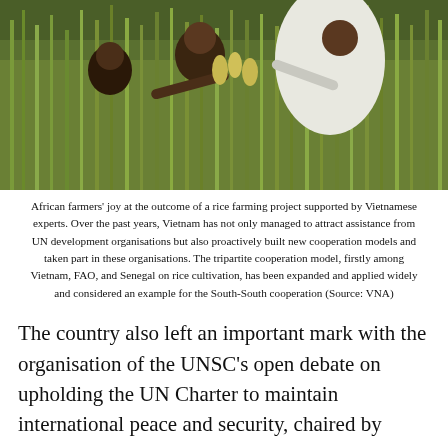[Figure (photo): African farmers smiling and examining rice crops in a lush green rice field, supported by Vietnamese experts.]
African farmers' joy at the outcome of a rice farming project supported by Vietnamese experts. Over the past years, Vietnam has not only managed to attract assistance from UN development organisations but also proactively built new cooperation models and taken part in these organisations. The tripartite cooperation model, firstly among Vietnam, FAO, and Senegal on rice cultivation, has been expanded and applied widely and considered an example for the South-South cooperation (Source: VNA)
The country also left an important mark with the organisation of the UNSC's open debate on upholding the UN Charter to maintain international peace and security, chaired by Deputy Prime Minister and Foreign Minister Pham Binh Minh; along with the council's first session on UN-ASEAN cooperation.